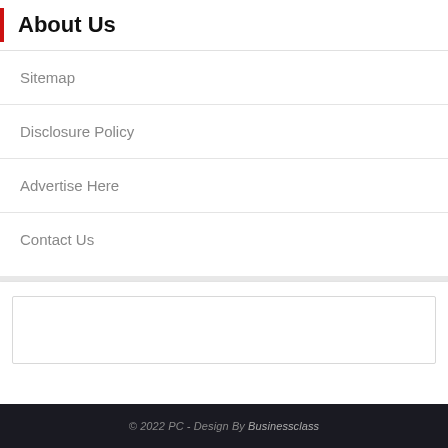About Us
Sitemap
Disclosure Policy
Advertise Here
Contact Us
[Figure (other): Empty white content box with border]
© 2022 PC - Design By Businessclass